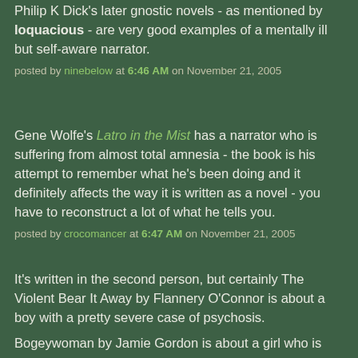Philip K Dick's later gnostic novels - as mentioned by loquacious - are very good examples of a mentally ill but self-aware narrator.
posted by ninebelow at 6:46 AM on November 21, 2005
Gene Wolfe's Latro in the Mist has a narrator who is suffering from almost total amnesia - the book is his attempt to remember what he's been doing and it definitely affects the way it is written as a novel - you have to reconstruct a lot of what he tells you.
posted by crocomancer at 6:47 AM on November 21, 2005
It's written in the second person, but certainly The Violent Bear It Away by Flannery O'Connor is about a boy with a pretty severe case of psychosis.
Bogeywoman by Jamie Gordon is about a girl who is sent to